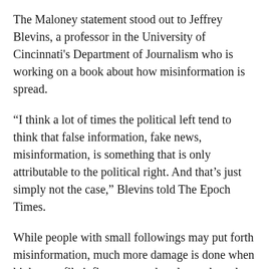The Maloney statement stood out to Jeffrey Blevins, a professor in the University of Cincinnati's Department of Journalism who is working on a book about how misinformation is spread.
“I think a lot of times the political left tend to think that false information, fake news, misinformation, is something that is only attributable to the political right. And that’s just simply not the case,” Blevins told The Epoch Times.
While people with small followings may put forth misinformation, much more damage is done when higher-profile influencers such as lawmakers do.
“When we think about influencers—and politicians fit into this category, certainly the chair of the